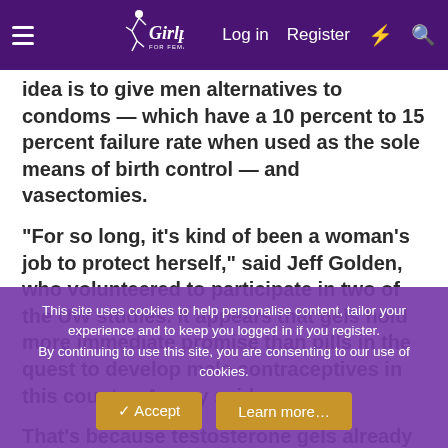Girlpower — Log in | Register
idea is to give men alternatives to condoms — which have a 10 percent to 15 percent failure rate when used as the sole means of birth control — and vasectomies.
"For so long, it's kind of been a woman's job to protect herself," said Jeff Golden, who volunteered to participate in two of the UW studies. It appears that gels hold more immediate promise than pills in the quest to develop male contraceptives in this country, Amory said.
That's because testosterone gels already are used
This site uses cookies to help personalise content, tailor your experience and to keep you logged in if you register.
By continuing to use this site, you are consenting to our use of cookies.